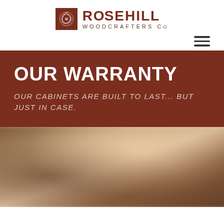[Figure (logo): Rosehill Woodcrafters Co logo with decorative circular icon and company name]
[Figure (other): Hamburger menu navigation icon (three horizontal lines)]
OUR WARRANTY
OUR CABINETS ARE BUILT TO LAST... BUT JUST IN CASE.
[Figure (photo): Blurred photo of wood cabinets/kitchen woodwork interior]